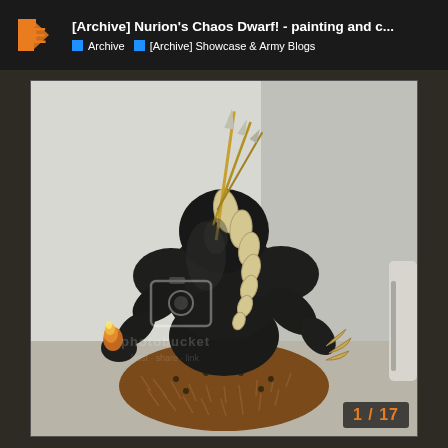[Archive] Nurion's Chaos Dwarf! - painting and c... | Archive | [Archive] Showcase & Army Blogs
[Figure (photo): A painted miniature figure of a large, muscular dark creature (Chaos Dwarf/demon) viewed from behind. The figure has a dorsal spine of bone/teeth protrusions, clawed hands, one raised holding a small flame, and stands on a detailed textured base with fur/feather textures. The figure is predominantly black with gold/bone highlights. A Photobucket watermark is visible across the image.]
1 / 17